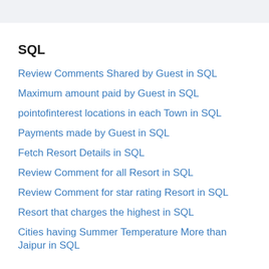SQL
Review Comments Shared by Guest in SQL
Maximum amount paid by Guest in SQL
pointofinterest locations in each Town in SQL
Payments made by Guest in SQL
Fetch Resort Details in SQL
Review Comment for all Resort in SQL
Review Comment for star rating Resort in SQL
Resort that charges the highest in SQL
Cities having Summer Temperature More than Jaipur in SQL